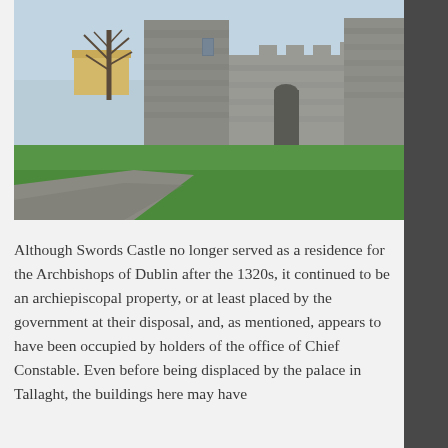[Figure (photo): Photograph of Swords Castle, showing grey stone castle walls with crenellations and towers, surrounded by a bright green lawn with a paved path in the foreground and a bare tree and yellow building visible in the background.]
Although Swords Castle no longer served as a residence for the Archbishops of Dublin after the 1320s, it continued to be an archiepiscopal property, or at least placed by the government at their disposal, and, as mentioned, appears to have been occupied by holders of the office of Chief Constable. Even before being displaced by the palace in Tallaght, the buildings here may have